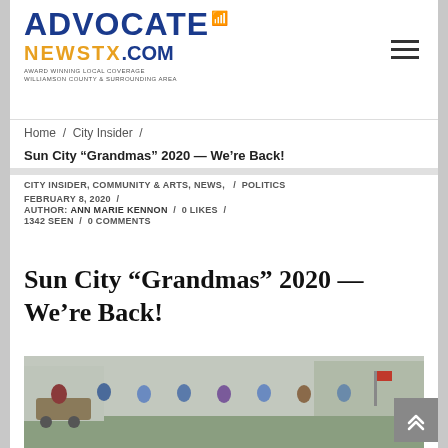[Figure (logo): Advocate NewsTX.com logo with blue ADVOCATE text, gold NEWSTX.COM text, wifi icon, and tagline]
Home / City Insider /
Sun City “Grandmas” 2020 — We’re Back!
CITY INSIDER, COMMUNITY & ARTS, NEWS, / POLITICS
FEBRUARY 8, 2020 /
AUTHOR: ANN MARIE KENNON / 0 LIKES /
1342 SEEN / 0 COMMENTS
Sun City “Grandmas” 2020 — We’re Back!
[Figure (photo): Group of older women outdoors near a golf cart on a sunny day]